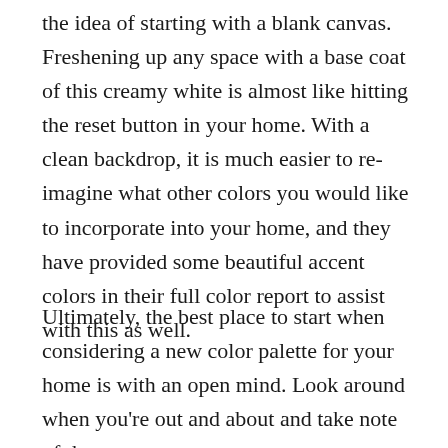the idea of starting with a blank canvas. Freshening up any space with a base coat of this creamy white is almost like hitting the reset button in your home. With a clean backdrop, it is much easier to re-imagine what other colors you would like to incorporate into your home, and they have provided some beautiful accent colors in their full color report to assist with this as well.
Ultimately, the best place to start when considering a new color palette for your home is with an open mind. Look around when you're out and about and take note of the